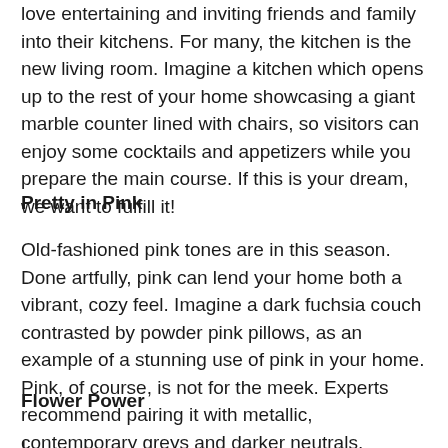love entertaining and inviting friends and family into their kitchens. For many, the kitchen is the new living room. Imagine a kitchen which opens up to the rest of your home showcasing a giant marble counter lined with chairs, so visitors can enjoy some cocktails and appetizers while you prepare the main course. If this is your dream, we want to fulfill it!
Pretty in Pink
Old-fashioned pink tones are in this season. Done artfully, pink can lend your home both a vibrant, cozy feel. Imagine a dark fuchsia couch contrasted by powder pink pillows, as an example of a stunning use of pink in your home. Pink, of course, is not for the meek. Experts recommend pairing it with metallic, contemporary greys and darker neutrals.
Flower Power
I